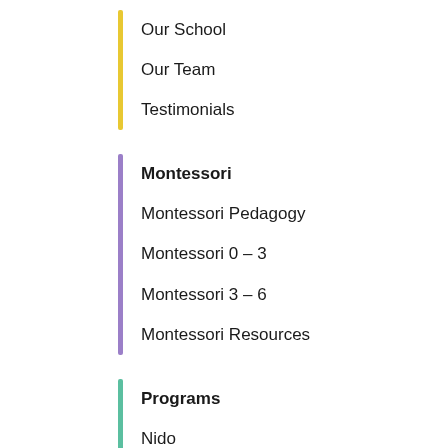Our School
Our Team
Testimonials
Montessori
Montessori Pedagogy
Montessori 0 – 3
Montessori 3 – 6
Montessori Resources
Programs
Nido
Infant Community
Toddler Community